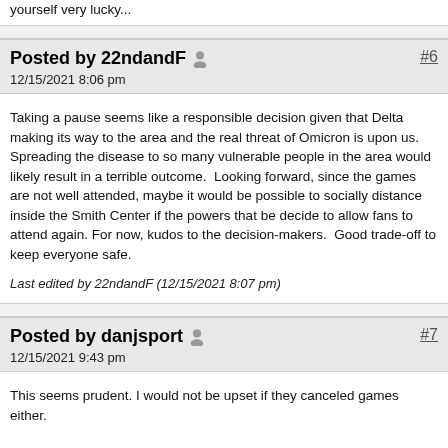yourself very lucky...
Posted by 22ndandF  #6
12/15/2021 8:06 pm
Taking a pause seems like a responsible decision given that Delta making its way to the area and the real threat of Omicron is upon us. Spreading the disease to so many vulnerable people in the area would likely result in a terrible outcome.  Looking forward, since the games are not well attended, maybe it would be possible to socially distance inside the Smith Center if the powers that be decide to allow fans to attend again. For now, kudos to the decision-makers.  Good trade-off to keep everyone safe.
Last edited by 22ndandF (12/15/2021 8:07 pm)
Posted by danjsport  #7
12/15/2021 9:43 pm
This seems prudent. I would not be upset if they canceled games either.